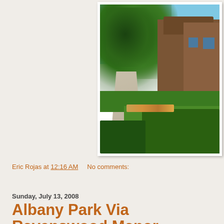[Figure (photo): A residential neighborhood street scene showing brick bungalow houses with large green trees overhead, trimmed hedges in the foreground, and a concrete sidewalk receding into the distance on a sunny day.]
Eric Rojas at 12:16 AM    No comments:
Sunday, July 13, 2008
Albany Park Via Ravenswood Manor